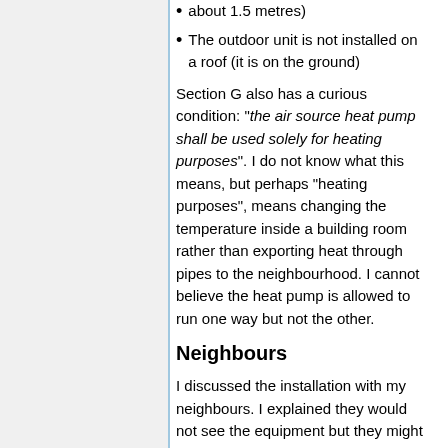about 1.5 metres)
The outdoor unit is not installed on a roof (it is on the ground)
Section G also has a curious condition: "the air source heat pump shall be used solely for heating purposes". I do not know what this means, but perhaps "heating purposes", means changing the temperature inside a building room rather than exporting heat through pipes to the neighbourhood. I cannot believe the heat pump is allowed to run one way but not the other.
Neighbours
I discussed the installation with my neighbours. I explained they would not see the equipment but they might hear it and I suggested two locations for the outdoor unit. Both locations are about...